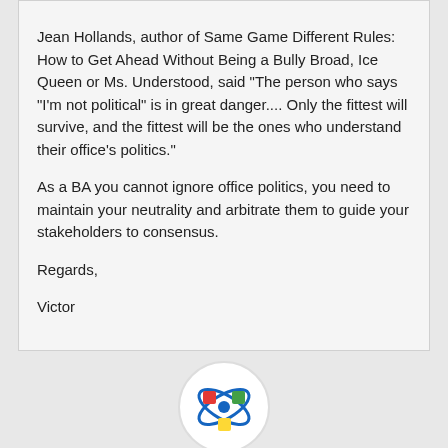Jean Hollands, author of Same Game Different Rules: How to Get Ahead Without Being a Bully Broad, Ice Queen or Ms. Understood, said "The person who says "I'm not political" is in great danger.... Only the fittest will survive, and the fittest will be the ones who understand their office's politics."
As a BA you cannot ignore office politics, you need to maintain your neutrality and arbitrate them to guide your stakeholders to consensus.
Regards,

Victor
[Figure (logo): Circular logo with colorful atom-like icon with red, green, blue and yellow squares]
Kimberly posted on Sunday, July 19, 2009 5:17 PM
Victor,

Thank you for your feedback. I believe we are in absolute agreement.